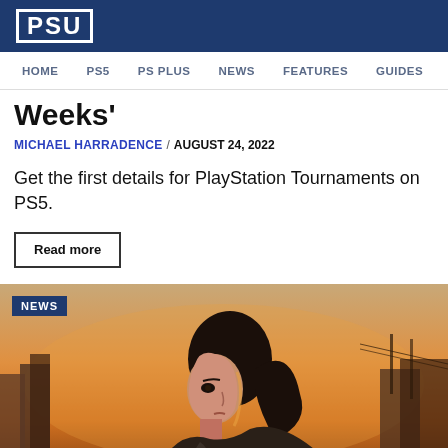PSU
HOME  PS5  PS PLUS  NEWS  FEATURES  GUIDES
Weeks'
MICHAEL HARRADENCE / AUGUST 24, 2022
Get the first details for PlayStation Tournaments on PS5.
Read more
[Figure (photo): A woman in profile view with dark hair in a ponytail, set against a post-apocalyptic cityscape with a warm orange-golden sky. A NEWS badge appears in the top-left corner.]